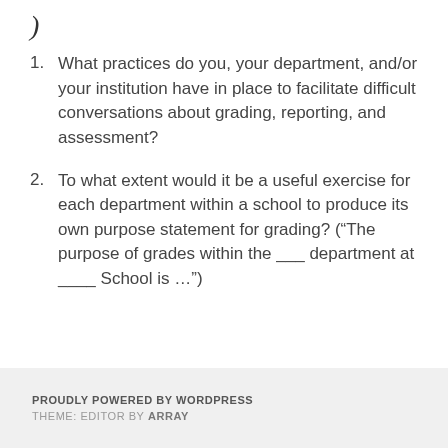What practices do you, your department, and/or your institution have in place to facilitate difficult conversations about grading, reporting, and assessment?
To what extent would it be a useful exercise for each department within a school to produce its own purpose statement for grading? (“The purpose of grades within the ___ department at ____ School is …”)
PROUDLY POWERED BY WORDPRESS
THEME: EDITOR BY ARRAY